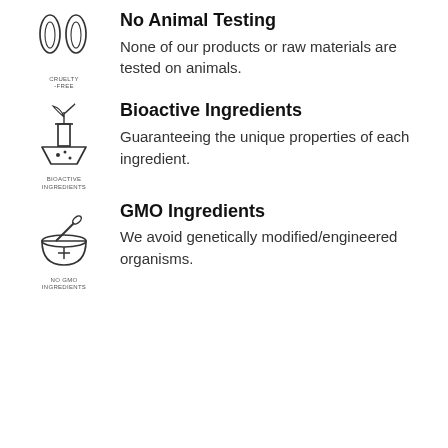[Figure (illustration): Cruelty-free bunny ears icon with text CRUELTY-FREE below]
No Animal Testing
None of our products or raw materials are tested on animals.
[Figure (illustration): Bioactive ingredients flask with plant icon and text BIOACTIVE INGREDIENTS below]
Bioactive Ingredients
Guaranteeing the unique properties of each ingredient.
[Figure (illustration): Mortar and pestle icon with text NO GMO INGREDIENTS below]
GMO Ingredients
We avoid genetically modified/engineered organisms.